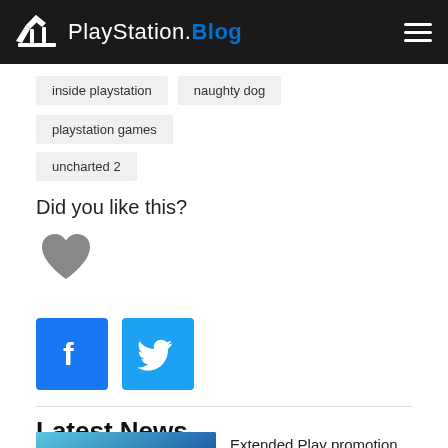PlayStation.Blog
inside playstation
naughty dog
playstation games
uncharted 2
Did you like this?
[Figure (illustration): Gray heart icon for liking the post]
[Figure (logo): Facebook share button – blue square with white 'f' letter]
[Figure (logo): Twitter share button – blue square with white bird icon]
Latest News
[Figure (photo): Thumbnail image with blue tones showing a game scene]
Extended Play promotion